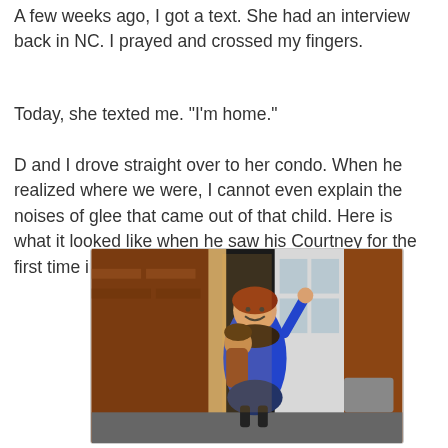A few weeks ago, I got a text. She had an interview back in NC. I prayed and crossed my fingers.
Today, she texted me. "I'm home."
D and I drove straight over to her condo. When he realized where we were, I cannot even explain the noises of glee that came out of that child. Here is what it looked like when he saw his Courtney for the first time in a long while.
[Figure (photo): A smiling woman in a blue top holding a child outside a brick building with a white door. The child is clinging to her and she is waving and smiling broadly.]